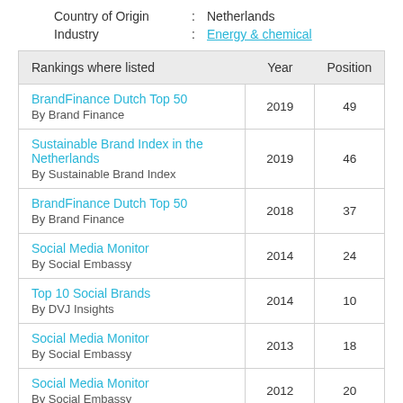Country of Origin : Netherlands
Industry : Energy & chemical
| Rankings where listed | Year | Position |
| --- | --- | --- |
| BrandFinance Dutch Top 50
By Brand Finance | 2019 | 49 |
| Sustainable Brand Index in the Netherlands
By Sustainable Brand Index | 2019 | 46 |
| BrandFinance Dutch Top 50
By Brand Finance | 2018 | 37 |
| Social Media Monitor
By Social Embassy | 2014 | 24 |
| Top 10 Social Brands
By DVJ Insights | 2014 | 10 |
| Social Media Monitor
By Social Embassy | 2013 | 18 |
| Social Media Monitor
By Social Embassy | 2012 | 20 |